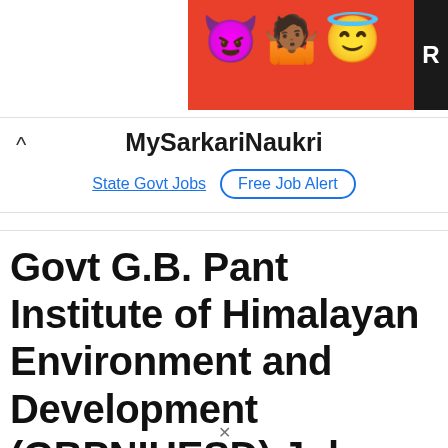[Figure (screenshot): Advertisement banner with emoji characters (devil, woman shrugging, angel emoji) on a red/orange background with a dark R box on the right edge]
MySarkariNaukri
State Govt Jobs   Free Job Alert
Govt G.B. Pant Institute of Himalayan Environment and Development (GBPNIHESD) Jobs 2022 - Sarkari Naukri